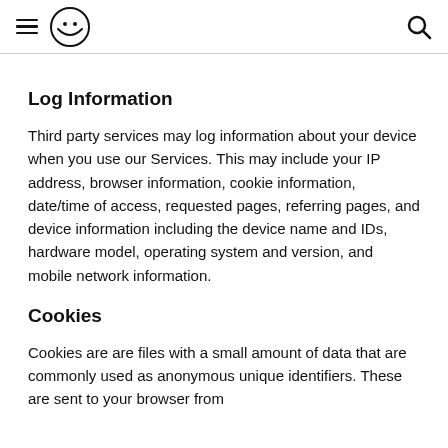[hamburger menu] [logo] [search icon]
Log Information
Third party services may log information about your device when you use our Services. This may include your IP address, browser information, cookie information, date/time of access, requested pages, referring pages, and device information including the device name and IDs, hardware model, operating system and version, and mobile network information.
Cookies
Cookies are are files with a small amount of data that are commonly used as anonymous unique identifiers. These are sent to your browser from